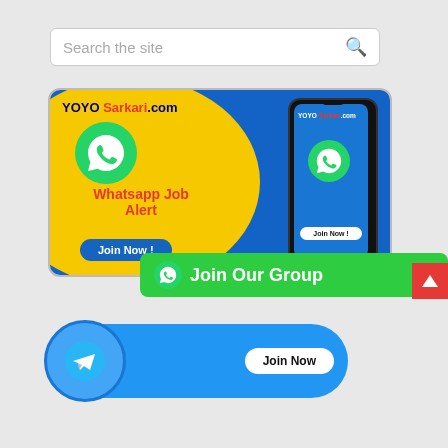Search the site
[Figure (infographic): Whatsapp Job Alert banner for YOYOSarkari.com with yellow and blue background, WhatsApp icon, phone mockup, and Join Now button]
[Figure (infographic): Green Join Our Group button with WhatsApp icon]
[Figure (infographic): Blue Telegram banner with paper plane icon and Join Now button]